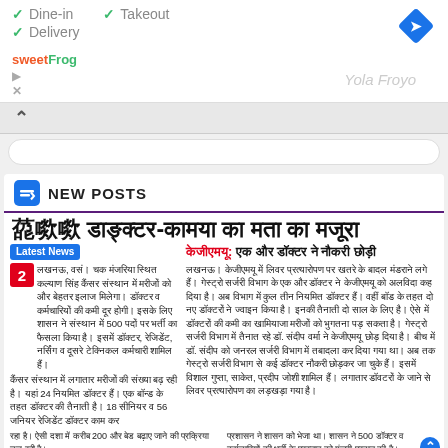[Figure (screenshot): Top bar showing Dine-in, Takeout checkmarks, Delivery checkmark, sweetFrog logo, navigation icon, blue diamond direction icon, and Yola Froyo text]
✓ Dine-in  ✓ Takeout
✓ Delivery
[Figure (logo): sweetFrog logo in orange and green]
[Figure (other): Blue diamond turn-right navigation icon]
Yola Froyo
NEW POSTS
500 डाक्टर-कामया का मता का मजूरा
Latest News
लखनऊ, वसं। चक मंजरिया स्थित कल्याण सिंह कैंसर संस्थान में मरीजों को और बेहतर इलाज मिलेगा। डॉक्टर व कर्मचारियों की कमी दूर होगी। इसके लिए शासन ने संस्थान में 500 पदों पर भर्ती का फैसला किया है। इसमें डॉक्टर, रेजिडेंट, नर्सिंग व दूसरे टेक्निकल कर्मचारी शामिल हैं।
 कैंसर संस्थान में लगातार मरीजों की संख्या बढ़ रही है। यहां 24 नियमित डॉक्टर हैं। एक बॉन्ड के तहत डॉक्टर की तैनाती है। 18 सीनियर व 56 जनियर रेजिडेंट डॉक्टर काम कर
केजीएमयू: एक और डॉक्टर ने नौकरी छोड़ी
लखनऊ। केजीएमयू में लिवर प्रत्यारोपण पर खतरे के बादल मंडराने लगे हैं। गेस्ट्रो सर्जरी विभाग के एक और डॉक्टर ने केजीएमयू को अलविदा कह दिया है। अब विभाग में कुल तीन नियमित डॉक्टर हैं। वहीं बॉड के तहत दो नए डॉक्टरों ने ज्वाइन किया है। इनकी तैनाती दो साल के लिए है। ऐसे में डॉक्टरों की कमी का खामियाजा मरीजों को भुगतना पड़ सकता है। गेस्ट्रो सर्जरी विभाग में तैनात रहे डॉ. संदीप वर्मा ने केजीएमयू छोड़ दिया है। बीच में डॉ. संदीप को जनरल सर्जरी विभाग में तबादला कर दिया गया था। अब तक गेस्ट्रो सर्जरी विभाग से कई डॉक्टर नौकरी छोड़कर जा चुके हैं। इसमें विशाल गुप्ता, साकेत, प्रदीप जोशी शामिल हैं। लगातार डॉवटरों के जाने से लिवर प्रत्यारोपण का लड़खड़ा गया है।
रहा है। ऐसी दशा में करीब 200 और बेड बढ़ाए जाने की प्रक्रिया चल रही है।
प्रशासन ने शासन को भेजा था। शासन ने 500 डॉक्टर व कर्मचारियों की भर्ती के प्रस्ताव को मंजरी प्रदान की है।